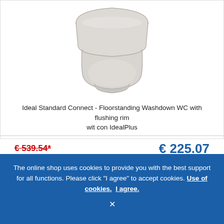[Figure (photo): Product photo of a white/light grey floorstanding washdown WC toilet with closed lid, Ideal Standard Connect model]
Ideal Standard Connect - Floorstanding Washdown WC with flushing rim wit con IdealPlus
€ 539.54* (strikethrough old price) | € 225.07 (new price)
Delivery time: ongeveer 3-4 weken
Article no.: E8231MA
ADD TO CART
The online shop uses cookies to provide you with the best support for all functions. Please click "I agree" to accept cookies. Use of cookies. I agree.